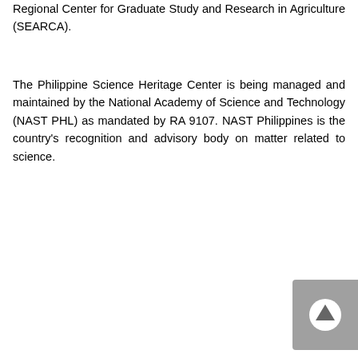Regional Center for Graduate Study and Research in Agriculture (SEARCA).
The Philippine Science Heritage Center is being managed and maintained by the National Academy of Science and Technology (NAST PHL) as mandated by RA 9107. NAST Philippines is the country's recognition and advisory body on matter related to science.